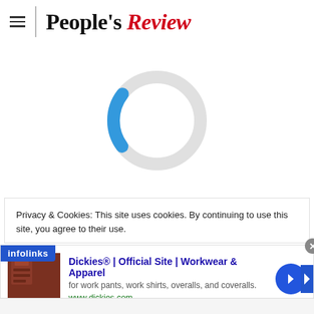People's Review
[Figure (other): Loading spinner / circular progress indicator - a light gray circle with a blue arc at the bottom indicating loading state]
Privacy & Cookies: This site uses cookies. By continuing to use this site, you agree to their use.
[Figure (other): Advertisement banner for Dickies® | Official Site | Workwear & Apparel - 'for work pants, work shirts, overalls, and coveralls. www.dickies.com' with a product image on the left and a blue arrow button on the right. Has an infolinks badge and close button.]